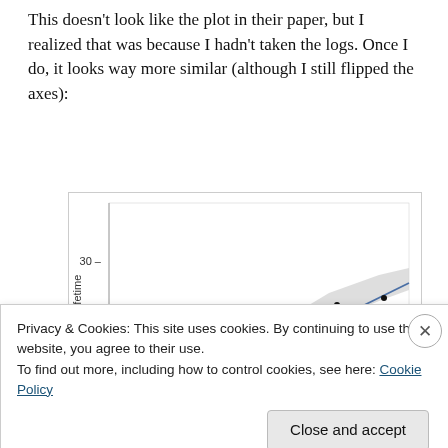This doesn't look like the plot in their paper, but I realized that was because I hadn't taken the logs. Once I do, it looks way more similar (although I still flipped the axes):
[Figure (continuous-plot): Scatter plot with fitted regression line and confidence band. Y-axis labeled 'C Divisions Lifetime' with tick at 25 and 30. Points scattered in an upward trend with a blue regression line and gray confidence band.]
Privacy & Cookies: This site uses cookies. By continuing to use this website, you agree to their use.
To find out more, including how to control cookies, see here: Cookie Policy